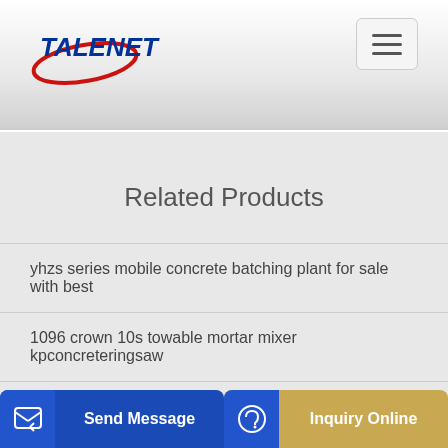[Figure (logo): TALENET company logo with red ellipse and blue bold text]
[Figure (other): Hamburger menu button (three horizontal lines) in a light grey rounded rectangle]
Related Products
yhzs series mobile concrete batching plant for sale with best
1096 crown 10s towable mortar mixer kpconcreteringsaw
machin
[Figure (other): Send Message button (blue background with document icon)]
[Figure (other): Inquiry Online button (golden/tan background with headset icon)]